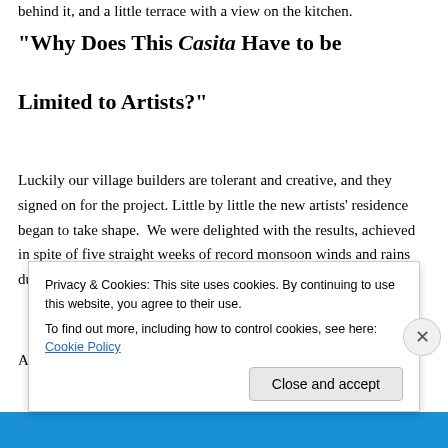behind it, and a little terrace with a view on the kitchen.
“Why Does This Casita Have to be Limited to Artists?”
Luckily our village builders are tolerant and creative, and they signed on for the project. Little by little the new artists’ residence began to take shape.  We were delighted with the results, achieved in spite of five straight weeks of record monsoon winds and rains during the building work.
At one point someone said, “Why does this casita have to
Privacy & Cookies: This site uses cookies. By continuing to use this website, you agree to their use.
To find out more, including how to control cookies, see here: Cookie Policy
Close and accept